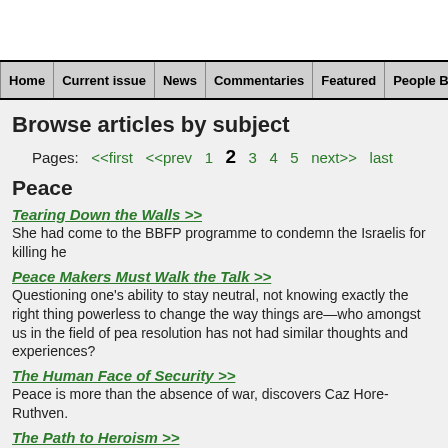Home | Current issue | News | Commentaries | Featured | People Building Trust
Browse articles by subject
Pages: <<first <<prev 1 2 3 4 5 next>> last
Peace
Tearing Down the Walls >>
She had come to the BBFP programme to condemn the Israelis for killing he
Peace Makers Must Walk the Talk >>
Questioning one's ability to stay neutral, not knowing exactly the right thing powerless to change the way things are—who amongst us in the field of pea resolution has not had similar thoughts and experiences?
The Human Face of Security >>
Peace is more than the absence of war, discovers Caz Hore-Ruthven.
The Path to Heroism >>
The labyrinth invites seekers into meditative wandering within a self-contain
Healing Streams >>
Zainab Bawa draws insights from a new Indian book on dialogue and recon Muslims and Sikhs.